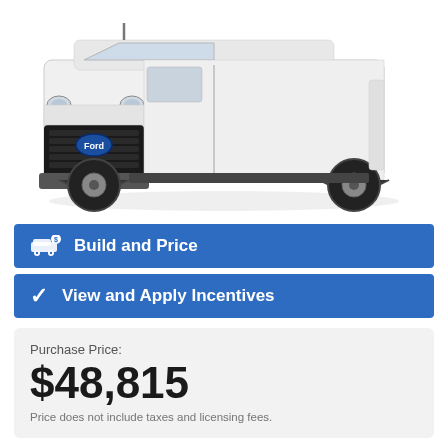[Figure (photo): White Ford Transit cargo van shown from a front three-quarter angle on a white background]
Build and Price
View and Apply Incentives
Purchase Price:
$48,815
Price does not include taxes and licensing fees.